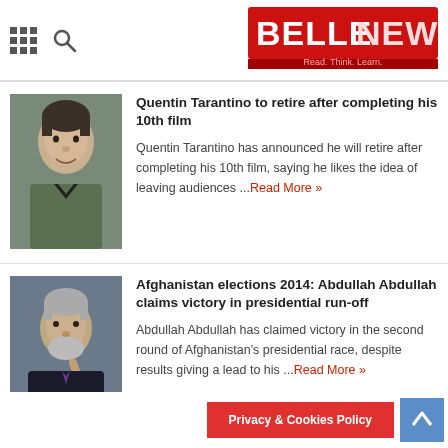BELLE NEWS — Read. Think. Learn.
Quentin Tarantino to retire after completing his 10th film
Quentin Tarantino has announced he will retire after completing his 10th film, saying he likes the idea of leaving audiences ...Read More »
Afghanistan elections 2014: Abdullah Abdullah claims victory in presidential run-off
Abdullah Abdullah has claimed victory in the second round of Afghanistan's presidential race, despite results giving a lead to his ...Read More »
Privacy & Cookies Policy